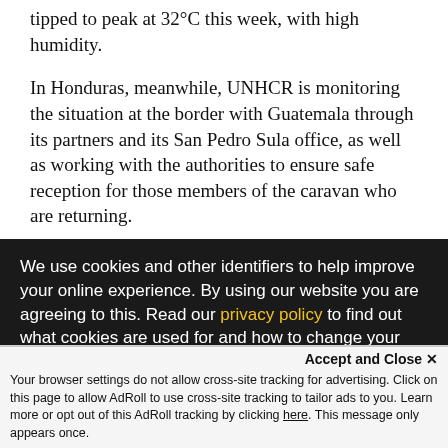tipped to peak at 32°C this week, with high humidity.
In Honduras, meanwhile, UNHCR is monitoring the situation at the border with Guatemala through its partners and its San Pedro Sula office, as well as working with the authorities to ensure safe reception for those members of the caravan who are returning.
“UNHCR would like to remind countries along this route that this caravan is likely to include people in real danger,” Edwards stressed. “In any situation like this it is essential that people have the chance to request asylum and have their international protection needs properly assessed,
We use cookies and other identifiers to help improve your online experience. By using our website you are agreeing to this. Read our privacy policy to find out what cookies are used for and how to change your settings.
Accept and Close ×
Your browser settings do not allow cross-site tracking for advertising. Click on this page to allow AdRoll to use cross-site tracking to tailor ads to you. Learn more or opt out of this AdRoll tracking by clicking here. This message only appears once.